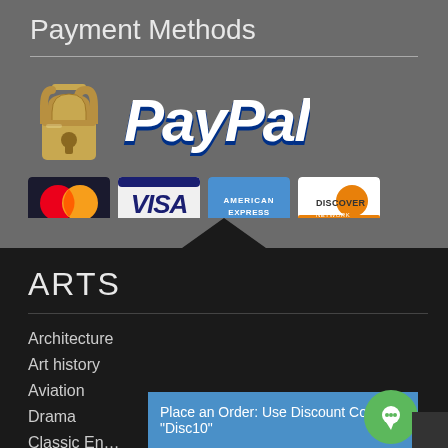Payment Methods
[Figure (logo): Payment methods section with lock icon, PayPal logo, MasterCard, Visa, American Express, and Discover Network card logos]
ARTS
Architecture
Art history
Aviation
Drama
Classic En…
Place an Order: Use Discount Code "Disc10"